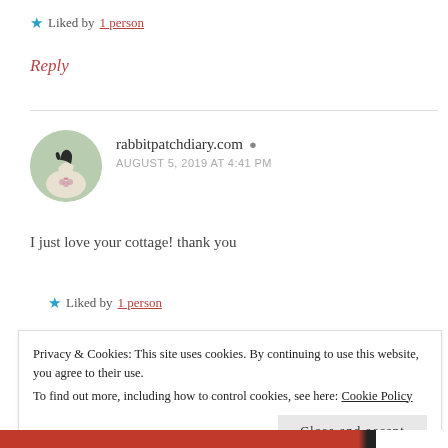Liked by 1 person
Reply
rabbitpatchdiary.com  AUGUST 5, 2019 AT 4:41 PM
I just love your cottage! thank you
Liked by 1 person
Privacy & Cookies: This site uses cookies. By continuing to use this website, you agree to their use. To find out more, including how to control cookies, see here: Cookie Policy
Close and accept